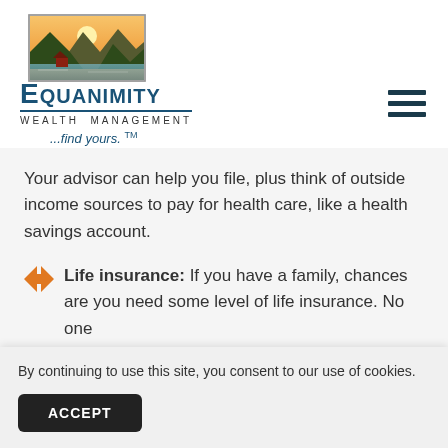[Figure (logo): Equanimity Wealth Management logo with mountain landscape image, company name, subtitle and tagline '...find yours. TM']
Your advisor can help you file, plus think of outside income sources to pay for health care, like a health savings account.
Life insurance: If you have a family, chances are you need some level of life insurance. No one likes talking about what happens when they're...
By continuing to use this site, you consent to our use of cookies.